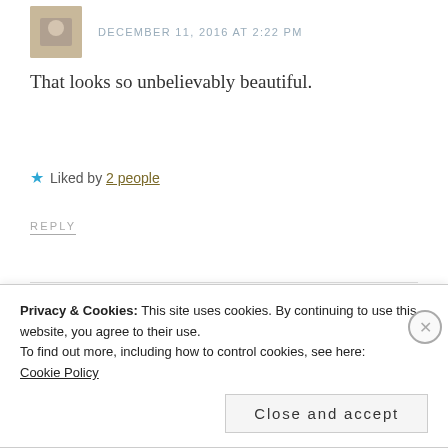DECEMBER 11, 2016 AT 2:22 PM
That looks so unbelievably beautiful.
★ Liked by 2 people
REPLY
amillionadventuresblog
DECEMBER 11, 2016 AT 1:47 PM
Privacy & Cookies: This site uses cookies. By continuing to use this website, you agree to their use.
To find out more, including how to control cookies, see here:
Cookie Policy